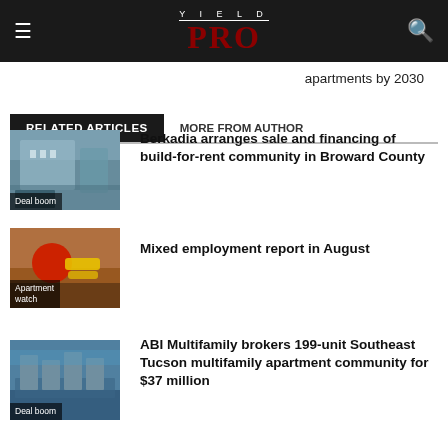YIELD PRO
apartments by 2030
RELATED ARTICLES  MORE FROM AUTHOR
[Figure (photo): Thumbnail of a modern residential building with 'Deal boom' label]
Berkadia arranges sale and financing of build-for-rent community in Broward County
[Figure (photo): Thumbnail of food items (apple and bananas) with 'Apartment watch' label]
Mixed employment report in August
[Figure (photo): Thumbnail of a Southwest-style apartment community with 'Deal boom' label]
ABI Multifamily brokers 199-unit Southeast Tucson multifamily apartment community for $37 million